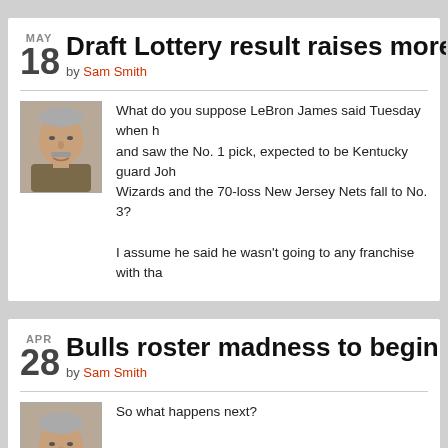Draft Lottery result raises more free agent c
by Sam Smith
[Figure (photo): Headshot of Sam Smith, older man with gray hair and mustache]
What do you suppose LeBron James said Tuesday when h and saw the No. 1 pick, expected to be Kentucky guard Joh Wizards and the 70-loss New Jersey Nets fall to No. 3?
I assume he said he wasn't going to any franchise with tha
Bulls roster madness to begin with end of s
by Sam Smith
[Figure (photo): Headshot of Sam Smith, older man with gray hair]
So what happens next?
The Bulls Tuesday in losing the opening round playoff serie